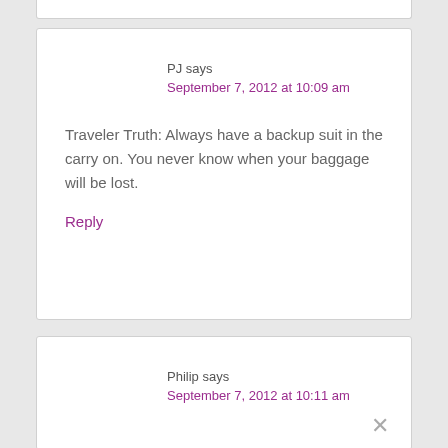PJ says
September 7, 2012 at 10:09 am
Traveler Truth: Always have a backup suit in the carry on. You never know when your baggage will be lost.
Reply
Philip says
September 7, 2012 at 10:11 am